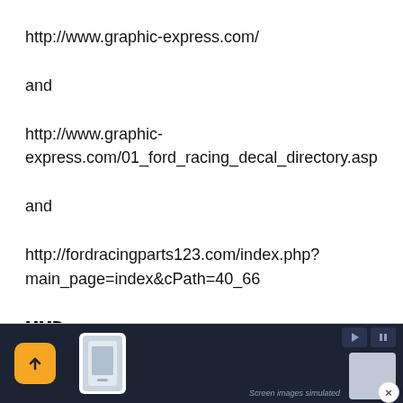http://www.graphic-express.com/
and
http://www.graphic-express.com/01_ford_racing_decal_directory.asp
and
http://fordracingparts123.com/index.php?main_page=index&cPath=40_66
MMD